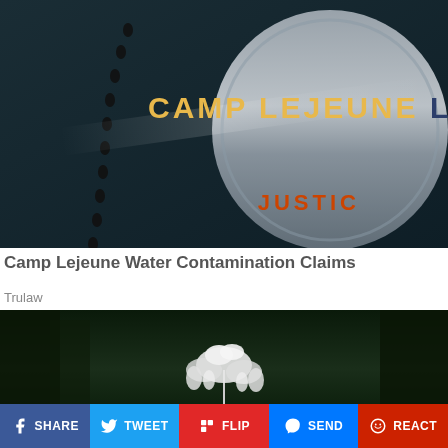[Figure (photo): Dark background image showing military dog tags chain with 'CAMP LEJEUNE LEGAL' text in gold and navy, and 'JUSTIC' text in orange at bottom right — promotional image for Camp Lejeune legal claims]
Camp Lejeune Water Contamination Claims
Trulaw
[Figure (photo): Outdoor nature scene with white flowering plant against dark forest background]
SHARE  TWEET  FLIP  SEND  REACT